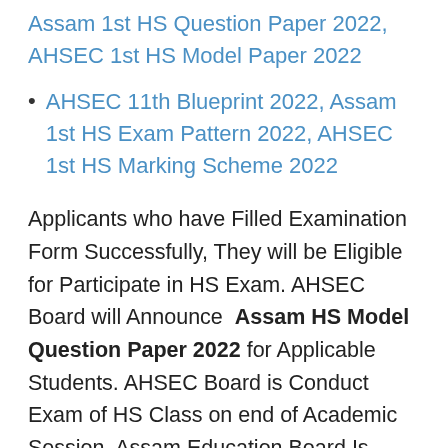Assam 1st HS Question Paper 2022, AHSEC 1st HS Model Paper 2022
AHSEC 11th Blueprint 2022, Assam 1st HS Exam Pattern 2022, AHSEC 1st HS Marking Scheme 2022
Applicants who have Filled Examination Form Successfully, They will be Eligible for Participate in HS Exam. AHSEC Board will Announce Assam HS Model Question Paper 2022 for Applicable Students. AHSEC Board is Conduct Exam of HS Class on end of Academic Session. Assam Education Board Is